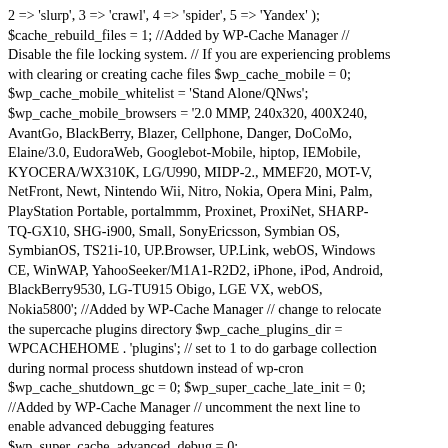2 => 'slurp', 3 => 'crawl', 4 => 'spider', 5 => 'Yandex' ); $cache_rebuild_files = 1; //Added by WP-Cache Manager // Disable the file locking system. // If you are experiencing problems with clearing or creating cache files $wp_cache_mobile = 0; $wp_cache_mobile_whitelist = 'Stand Alone/QNws'; $wp_cache_mobile_browsers = '2.0 MMP, 240x320, 400X240, AvantGo, BlackBerry, Blazer, Cellphone, Danger, DoCoMo, Elaine/3.0, EudoraWeb, Googlebot-Mobile, hiptop, IEMobile, KYOCERA/WX310K, LG/U990, MIDP-2., MMEF20, MOT-V, NetFront, Newt, Nintendo Wii, Nitro, Nokia, Opera Mini, Palm, PlayStation Portable, portalmmm, Proxinet, ProxiNet, SHARP-TQ-GX10, SHG-i900, Small, SonyEricsson, Symbian OS, SymbianOS, TS21i-10, UP.Browser, UP.Link, webOS, Windows CE, WinWAP, YahooSeeker/M1A1-R2D2, iPhone, iPod, Android, BlackBerry9530, LG-TU915 Obigo, LGE VX, webOS, Nokia5800'; //Added by WP-Cache Manager // change to relocate the supercache plugins directory $wp_cache_plugins_dir = WPCACHEHOME . 'plugins'; // set to 1 to do garbage collection during normal process shutdown instead of wp-cron $wp_cache_shutdown_gc = 0; $wp_super_cache_late_init = 0; //Added by WP-Cache Manager // uncomment the next line to enable advanced debugging features $wp_super_cache_advanced_debug = 0; $wp_super_cache_front_page_text = ''; $wp_super_cache_front_page_clear = 0;